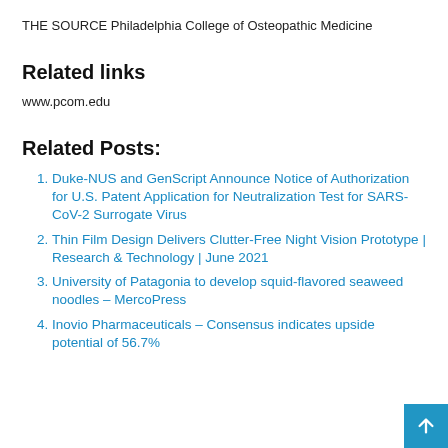THE SOURCE Philadelphia College of Osteopathic Medicine
Related links
www.pcom.edu
Related Posts:
Duke-NUS and GenScript Announce Notice of Authorization for U.S. Patent Application for Neutralization Test for SARS-CoV-2 Surrogate Virus
Thin Film Design Delivers Clutter-Free Night Vision Prototype | Research & Technology | June 2021
University of Patagonia to develop squid-flavored seaweed noodles – MercoPress
Inovio Pharmaceuticals – Consensus indicates upside potential of 56.7%